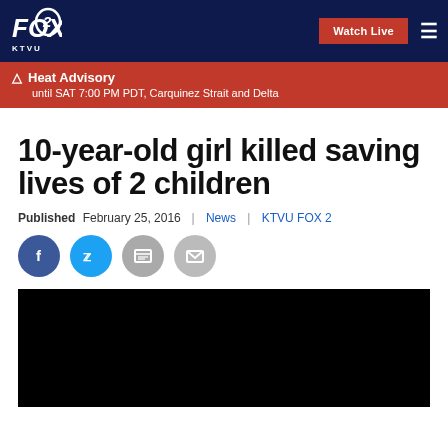FOX 2 KTVU | Watch Live | Menu
Heat Advisory until SAT 7:00 PM PDT, Carquinez Strait and Delta
10-year-old girl killed saving lives of 2 children
Published February 25, 2016 | News | KTVU FOX 2
[Figure (other): Social sharing icons: Facebook, Twitter, Print, Email]
[Figure (photo): Black video player area]